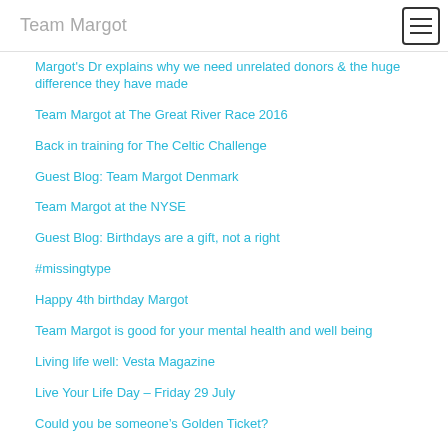Team Margot
Margot's Dr explains why we need unrelated donors & the huge difference they have made
Team Margot at The Great River Race 2016
Back in training for The Celtic Challenge
Guest Blog: Team Margot Denmark
Team Margot at the NYSE
Guest Blog: Birthdays are a gift, not a right
#missingtype
Happy 4th birthday Margot
Team Margot is good for your mental health and well being
Living life well: Vesta Magazine
Live Your Life Day – Friday 29 July
Could you be someone's Golden Ticket?
“Racial Justice”
Team Margot Ten Miler: Sunday 2 October 2016